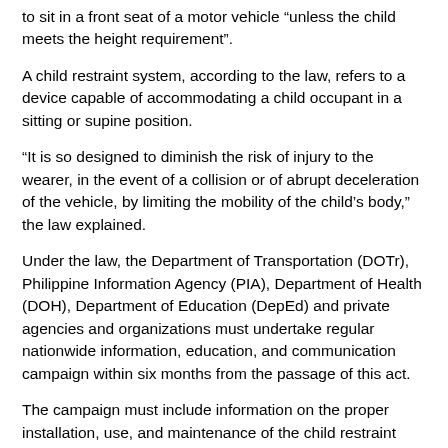to sit in a front seat of a motor vehicle “unless the child meets the height requirement”.
A child restraint system, according to the law, refers to a device capable of accommodating a child occupant in a sitting or supine position.
“It is so designed to diminish the risk of injury to the wearer, in the event of a collision or of abrupt deceleration of the vehicle, by limiting the mobility of the child’s body,” the law explained.
Under the law, the Department of Transportation (DOTr), Philippine Information Agency (PIA), Department of Health (DOH), Department of Education (DepEd) and private agencies and organizations must undertake regular nationwide information, education, and communication campaign within six months from the passage of this act.
The campaign must include information on the proper installation, use, and maintenance of the child restraint system.
The DOTr may call upon any government agency, including the Philippine National Police (PNP), and any agency, organization,